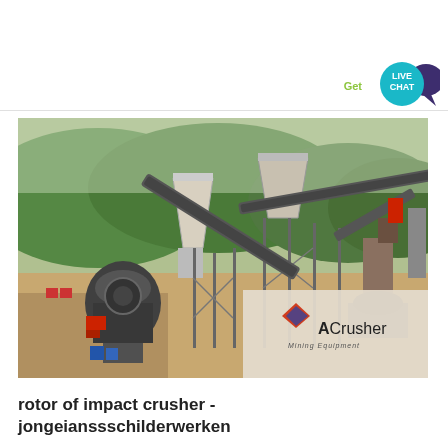[Figure (other): Live Chat button with speech bubble icon in teal/dark purple colors, with 'Get' text in green]
[Figure (photo): Outdoor mining/crushing plant facility showing large industrial equipment including cone crushers, conveyor belts, structural steel framework, hopper bins, with green hills and mountains in background. ACrusher Mining Equipment logo overlay in bottom right corner.]
rotor of impact crusher - jongeianssschilderwerken